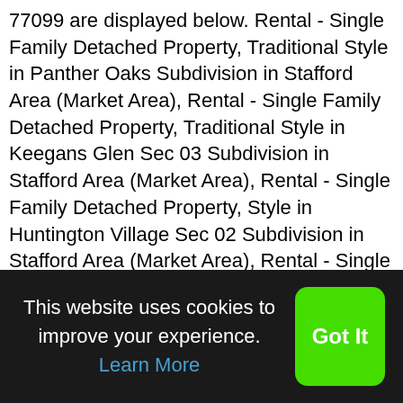77099 are displayed below. Rental - Single Family Detached Property, Traditional Style in Panther Oaks Subdivision in Stafford Area (Market Area), Rental - Single Family Detached Property, Traditional Style in Keegans Glen Sec 03 Subdivision in Stafford Area (Market Area), Rental - Single Family Detached Property, Style in Huntington Village Sec 02 Subdivision in Stafford Area (Market Area), Rental - Single Family Detached Property, Traditional Style in Brookfield Sec 01 R/p A & Ext Subdivision in Alief (Market Area), Rental - Single Family Detached Property, Style in Huntington Village Sec 04 Subdivision in Stafford Area (Market Area), Rental - Single Family Detached Property, Traditional Style in Parkglen Sec 04 Alief Subdivision in Stafford Area (Market Area), Rental - Single Family Detached Property, Traditional Style in Kirkwood Country Sec 01 R/p Subdivision in Alief (Market Area), Rental - Single Family Detached Property, Style in Parkglen Sec 04 Alief Subdivision in Stafford Area (Market
This website uses cookies to improve your experience. Learn More